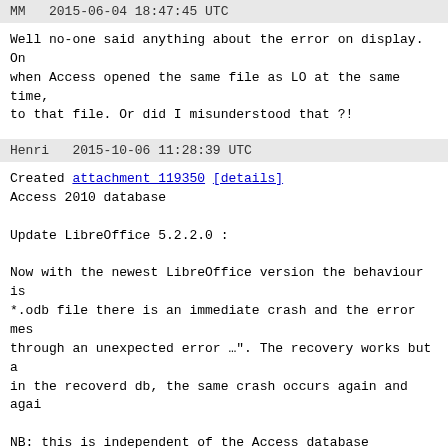MM   2015-06-04 18:47:45 UTC
Well no-one said anything about the error on display. On when Access opened the same file as LO at the same time, to that file. Or did I misunderstood that ?!
Henri   2015-10-06 11:28:39 UTC
Created attachment 119350 [details]
Access 2010 database

Update LibreOffice 5.2.2.0 :

Now with the newest LibreOffice version the behaviour is *.odb file there is an immediate crash and the error mes through an unexpected error …". The recovery works but a in the recoverd db, the same crash occurs again and agai

NB: this is independent of the Access database contents. error with a test database containing only 1 text field
Julien Nabet   2016-05-06 14:10:45 UTC
Henri: 5.2.2 hasn't been released yet, I suppose you mea

Anyway, could you rename your LO directory profile (see https://wiki.documentfoundation.org/UserProfile#Mac_OS_X retrieve bt (see